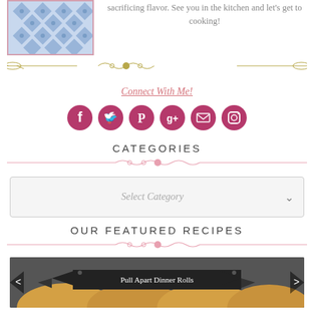[Figure (photo): Small framed photo with blue floral/tile pattern fabric or textile]
sacrificing flavor. See you in the kitchen and let's get to cooking!
[Figure (illustration): Decorative olive/gold horizontal divider with scroll and whisk ornaments]
Connect With Me!
[Figure (infographic): Row of six pink/magenta social media icon circles: Facebook, Twitter, Pinterest, Google+, Email, Instagram]
CATEGORIES
[Figure (illustration): Decorative pink horizontal divider with scroll ornaments]
Select Category
OUR FEATURED RECIPES
[Figure (illustration): Decorative pink horizontal divider with scroll ornaments]
[Figure (photo): Recipe image for Pull Apart Dinner Rolls with banner label and navigation arrows]